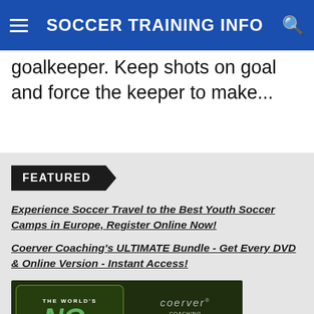SOCCER TRAINING INFO
goalkeeper. Keep shots on goal and force the keeper to make...
FEATURED
Experience Soccer Travel to the Best Youth Soccer Camps in Europe, Register Online Now!
Coerver Coaching's ULTIMATE Bundle - Get Every DVD & Online Version - Instant Access!
[Figure (photo): Coerver Coaching advertisement showing 'THE WORLD'S NO1 SOCCER SKILLS TEACHING METHOD' on green background with 'GET THE ULTIMATE' text and coerver logo]